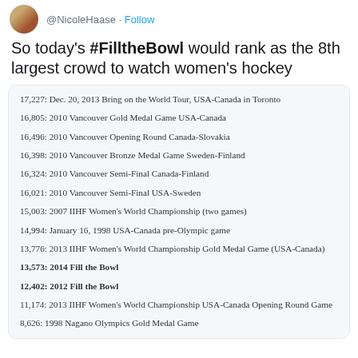@NicoleHaase · Follow
So today's #FilltheBowl would rank as the 8th largest crowd to watch women's hockey
17,227: Dec. 20, 2013 Bring on the World Tour, USA-Canada in Toronto
16,805: 2010 Vancouver Gold Medal Game USA-Canada
16,496: 2010 Vancouver Opening Round Canada-Slovakia
16,398: 2010 Vancouver Bronze Medal Game Sweden-Finland
16,324: 2010 Vancouver Semi-Final Canada-Finland
16,021: 2010 Vancouver Semi-Final USA-Sweden
15,003: 2007 IIHF Women's World Championship (two games)
14,994: January 16, 1998 USA-Canada pre-Olympic game
13,776: 2013 IIHF Women's World Championship Gold Medal Game (USA-Canada)
13,573: 2014 Fill the Bowl
12,402: 2012 Fill the Bowl
11,174: 2013 IIHF Women's World Championship USA-Canada Opening Round Game
8,626: 1998 Nagano Olympics Gold Medal Game